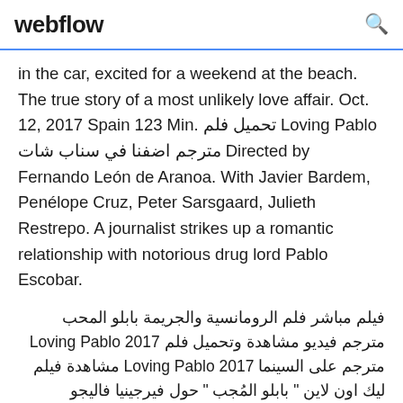webflow
in the car, excited for a weekend at the beach. The true story of a most unlikely love affair. Oct. 12, 2017 Spain 123 Min. تحميل فلم Loving Pablo مترجم اضفنا في سناب شات Directed by Fernando León de Aranoa. With Javier Bardem, Penélope Cruz, Peter Sarsgaard, Julieth Restrepo. A journalist strikes up a romantic relationship with notorious drug lord Pablo Escobar.
فيلم مباشر فلم الرومانسية والجريمة بابلو المحب مترجم فيديو مشاهدة وتحميل فلم Loving Pablo 2017 مترجم على السينما Loving Pablo 2017 مشاهدة فيلم ليك اون لاين " بابلو المُجب " حول فيرجينيا فاليجو (بينيلوبي كروز) صحفية تتورط في علاقة رومانسية مع زعيم المخدرات سوء السمعة بابلو اسكوبار (خافيس